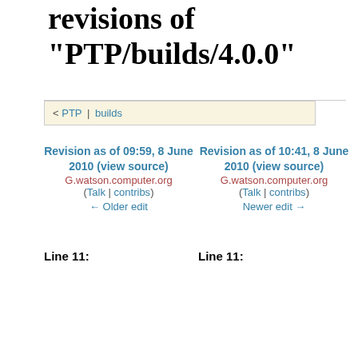revisions of "PTP/builds/4.0.0"
< PTP | builds
Revision as of 09:59, 8 June 2010 (view source)
G.watson.computer.org (Talk | contribs)
← Older edit
Revision as of 10:41, 8 June 2010 (view source)
G.watson.computer.org (Talk | contribs)
Newer edit →
Line 11:
Line 11:
| ! Build |
| ! Download Link |
| −! Comments |
| −|- |
| −| 08 June (nightly) |
| ! Build |
| ! Download Link |
| +! Comments |
| + |
| + |